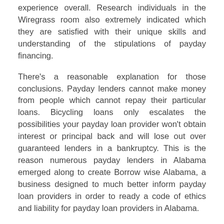experience overall. Research individuals in the Wiregrass room also extremely indicated which they are satisfied with their unique skills and understanding of the stipulations of payday financing.
There's a reasonable explanation for those conclusions. Payday lenders cannot make money from people which cannot repay their particular loans. Bicycling loans only escalates the possibilities your payday loan provider won't obtain interest or principal back and will lose out over guaranteed lenders in a bankruptcy. This is the reason numerous payday lenders in Alabama emerged along to create Borrow wise Alabama, a business designed to much better inform payday loan providers in order to ready a code of ethics and liability for payday loan providers in Alabama.
Operating payday loan providers bankrupt with extreme